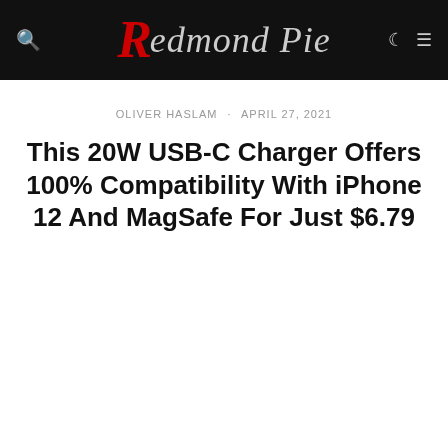Redmond Pie
OLIVER HASLAM · APRIL 27, 2021
This 20W USB-C Charger Offers 100% Compatibility With iPhone 12 And MagSafe For Just $6.79